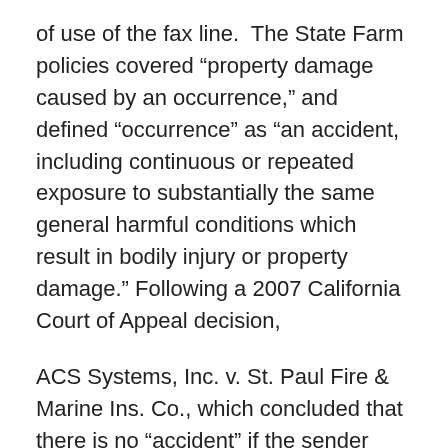of use of the fax line.  The State Farm policies covered “property damage caused by an occurrence,” and defined “occurrence” as “an accident, including continuous or repeated exposure to substantially the same general harmful conditions which result in bodily injury or property damage.” Following a 2007 California Court of Appeal decision,
ACS Systems, Inc. v. St. Paul Fire & Marine Ins. Co., which concluded that there is no “accident” if the sender intended to send the fax advertisements, the court in JT’s Frames stated that there was no evidence that the sender believed that any of the tens of thousands of faxes were solicited or sent accidentally.